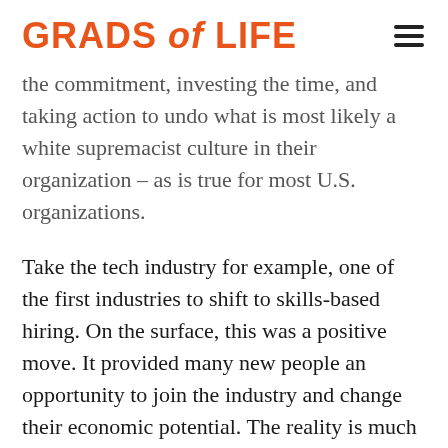GRADS of LIFE
the commitment, investing the time, and taking action to undo what is most likely a white supremacist culture in their organization – as is true for most U.S. organizations.
Take the tech industry for example, one of the first industries to shift to skills-based hiring. On the surface, this was a positive move. It provided many new people an opportunity to join the industry and change their economic potential. The reality is much more disheartening, particularly for Black people, Last year, came tools to social